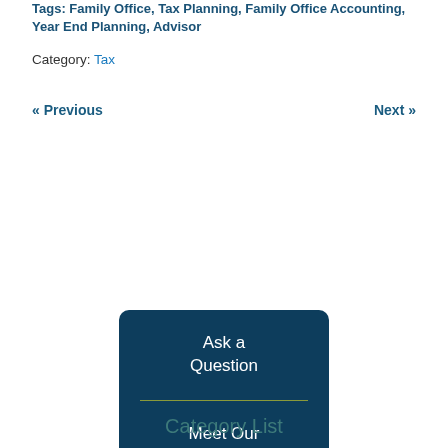Tags: Family Office, Tax Planning, Family Office Accounting, Year End Planning, Advisor
Category: Tax
« Previous
Next »
[Figure (infographic): Dark blue rounded rectangle card with three sections separated by olive/yellow-green horizontal lines. Top section: 'Ask a Question', middle section: 'Meet Our Team', bottom section: 'Apply for a Career'. All text in white.]
Category List